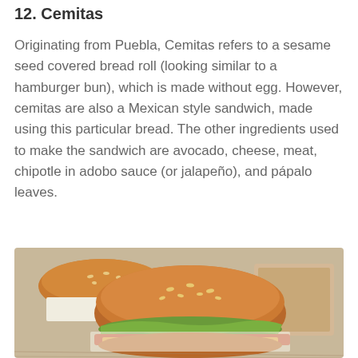12. Cemitas
Originating from Puebla, Cemitas refers to a sesame seed covered bread roll (looking similar to a hamburger bun), which is made without egg. However, cemitas are also a Mexican style sandwich, made using this particular bread. The other ingredients used to make the sandwich are avocado, cheese, meat, chipotle in adobo sauce (or jalapeño), and pápalo leaves.
[Figure (photo): Photo of cemitas sandwiches — sesame seed covered bread rolls filled with meat and greens, wrapped in paper, on a wooden surface]